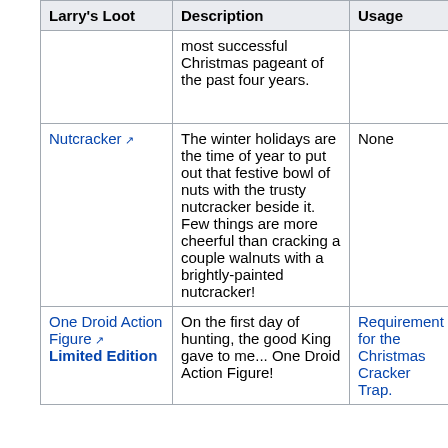| Larry's Loot | Description | Usage | Source | Image |
| --- | --- | --- | --- | --- |
|  | most successful Christmas pageant of the past four years. |  |  |  |
| Nutcracker ↗ | The winter holidays are the time of year to put out that festive bowl of nuts with the trusty nutcracker beside it. Few things are more cheerful than cracking a couple walnuts with a brightly-painted nutcracker! | None | Great Winter Hunt | Image |
| One Droid Action Figure ↗ Limited Edition | On the first day of hunting, the good King gave to me... One Droid Action Figure! | Requirement for the Christmas Cracker Trap. | Great Winter Hunt 2009 | Image |